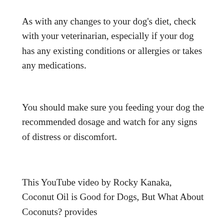As with any changes to your dog's diet, check with your veterinarian, especially if your dog has any existing conditions or allergies or takes any medications.
You should make sure you feeding your dog the recommended dosage and watch for any signs of distress or discomfort.
This YouTube video by Rocky Kanaka, Coconut Oil is Good for Dogs, But What About Coconuts? provides